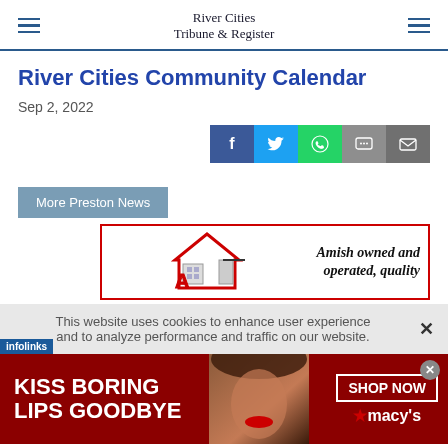River Cities Tribune & Register
River Cities Community Calendar
Sep 2, 2022
[Figure (infographic): Social share buttons: Facebook, Twitter, WhatsApp, Message, Email]
More Preston News
[Figure (infographic): Advertisement: Amish owned and operated, quality roofing company logo with house and worker silhouette]
This website uses cookies to enhance user experience and to analyze performance and traffic on our website.
[Figure (infographic): Macy's advertisement: KISS BORING LIPS GOODBYE - SHOP NOW]